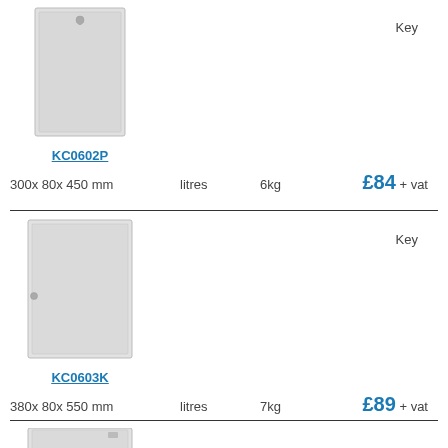[Figure (photo): Key cabinet KC0602P - small grey metal wall-mounted key cabinet with lock]
KC0602P
Key
300x 80x 450 mm   litres   6kg   £84 + vat
[Figure (photo): Key cabinet KC0603K - medium grey metal wall-mounted key cabinet]
KC0603K
Key
380x 80x 550 mm   litres   7kg   £89 + vat
[Figure (photo): Key cabinet - large grey metal wall-mounted key cabinet, partially visible]